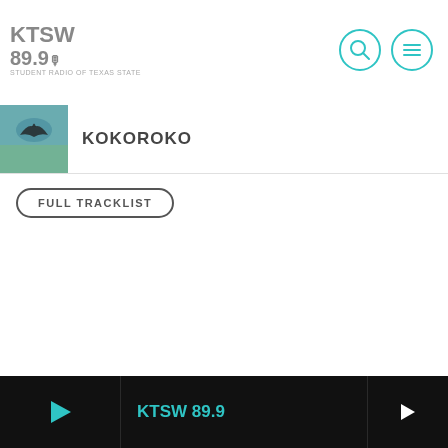KTSW 89.9
KOKOROKO
FULL TRACKLIST
KTSW 89.9